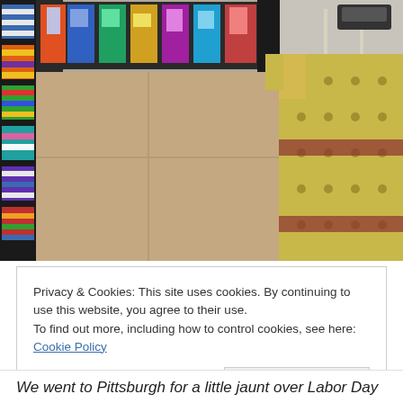[Figure (photo): A pedestrian walkway on a bridge in Pittsburgh. On the left side, the bridge railing is decorated with colorful yarn-bombed knitted/crocheted panels in various patterns and bright colors. The walkway surface is concrete, and to the right is a large yellow steel bridge girder with rivets. A roadway with a car is visible beyond the railing on the far right.]
Privacy & Cookies: This site uses cookies. By continuing to use this website, you agree to their use.
To find out more, including how to control cookies, see here: Cookie Policy
Close and accept
We went to Pittsburgh for a little jaunt over Labor Day